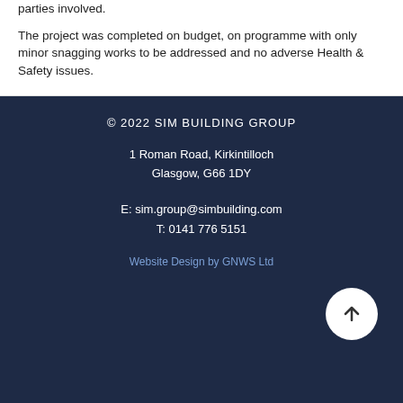parties involved.
The project was completed on budget, on programme with only minor snagging works to be addressed and no adverse Health & Safety issues.
© 2022 SIM BUILDING GROUP
1 Roman Road, Kirkintilloch
Glasgow, G66 1DY
E: sim.group@simbuilding.com
T: 0141 776 5151
Website Design by GNWS Ltd